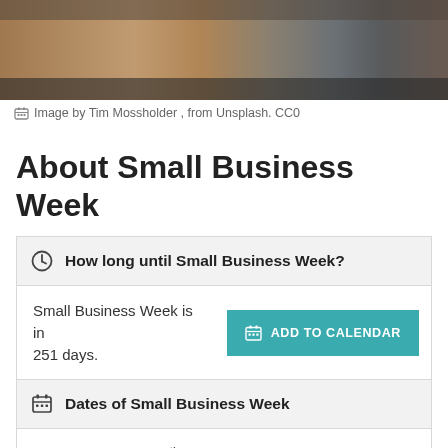[Figure (photo): Partial photograph of a wooden surface or shelf, cropped at top of page]
Image by Tim Mossholder , from Unsplash. CC0
About Small Business Week
How long until Small Business Week?
Small Business Week is in 251 days.
Dates of Small Business Week
2024 Sunday, May 5th